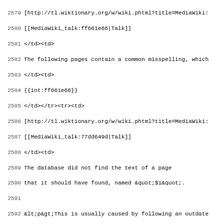Code listing lines 2579-2610, showing wiki/HTML source content with line numbers. Lines include HTML tags, MediaWiki template syntax, and URL references to tl.wiktionary.org.